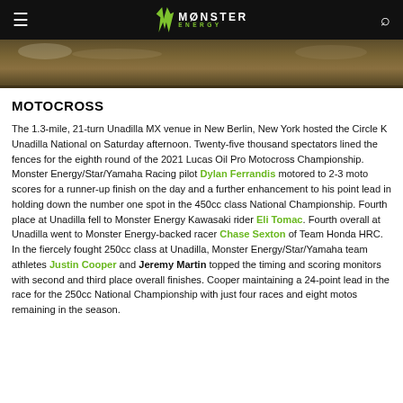Monster Energy
[Figure (photo): Dirt/track surface photo from a motocross venue]
MOTOCROSS
The 1.3-mile, 21-turn Unadilla MX venue in New Berlin, New York hosted the Circle K Unadilla National on Saturday afternoon. Twenty-five thousand spectators lined the fences for the eighth round of the 2021 Lucas Oil Pro Motocross Championship. Monster Energy/Star/Yamaha Racing pilot Dylan Ferrandis motored to 2-3 moto scores for a runner-up finish on the day and a further enhancement to his point lead in holding down the number one spot in the 450cc class National Championship. Fourth place at Unadilla fell to Monster Energy Kawasaki rider Eli Tomac. Fourth overall at Unadilla went to Monster Energy-backed racer Chase Sexton of Team Honda HRC. In the fiercely fought 250cc class at Unadilla, Monster Energy/Star/Yamaha team athletes Justin Cooper and Jeremy Martin topped the timing and scoring monitors with second and third place overall finishes. Cooper maintaining a 24-point lead in the race for the 250cc National Championship with just four races and eight motos remaining in the season.